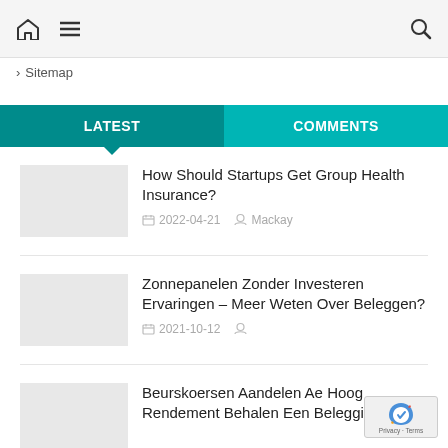Navigation bar with home, menu, and search icons
> Sitemap
LATEST | COMMENTS
How Should Startups Get Group Health Insurance?
2022-04-21  Mackay
Zonnepanelen Zonder Investeren Ervaringen – Meer Weten Over Beleggen?
2021-10-12
Beurskoersen Aandelen Ae Hoog Rendement Behalen Een Beleggingsfonds